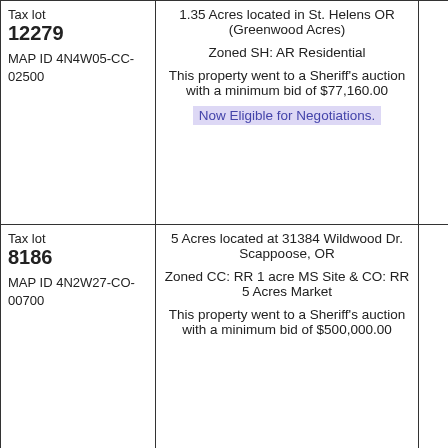| Tax Lot / Map ID | Property Description |  |
| --- | --- | --- |
| Tax lot 12279
MAP ID 4N4W05-CC-02500 | 1.35 Acres located in St. Helens OR (Greenwood Acres)
Zoned SH: AR Residential
This property went to a Sheriff's auction with a minimum bid of $77,160.00
Now Eligible for Negotiations. |  |
| Tax lot 8186
MAP ID 4N2W27-CO-00700 | 5 Acres located at 31384 Wildwood Dr. Scappoose, OR
Zoned CC: RR 1 acre MS Site & CO: RR 5 Acres Market
This property went to a Sheriff's auction with a minimum bid of $500,000.00 |  |